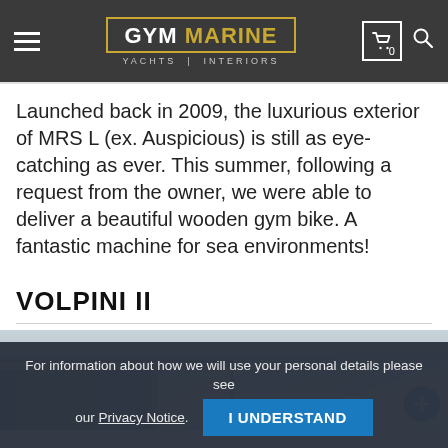GYM MARINE YACHTS | INTERIORS
Launched back in 2009, the luxurious exterior of MRS L (ex. Auspicious) is still as eye-catching as ever. This summer, following a request from the owner, we were able to deliver a beautiful wooden gym bike. A fantastic machine for sea environments!
VOLPINI II
[Figure (photo): Interior photo of a yacht room showing ceiling, walls, and windows with natural light]
For information about how we will use your personal details please see our Privacy Notice. I UNDERSTAND